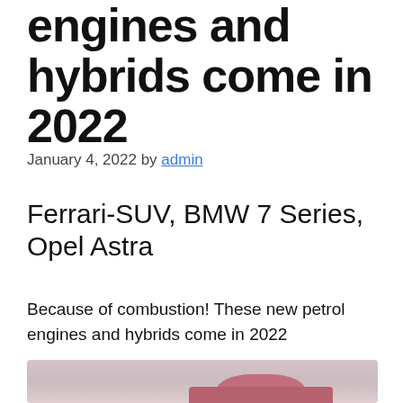engines and hybrids come in 2022
January 4, 2022 by admin
Ferrari-SUV, BMW 7 Series, Opel Astra
Because of combustion! These new petrol engines and hybrids come in 2022
[Figure (photo): Photo of a red/pink car partially visible at the bottom of the page against a light sky background]